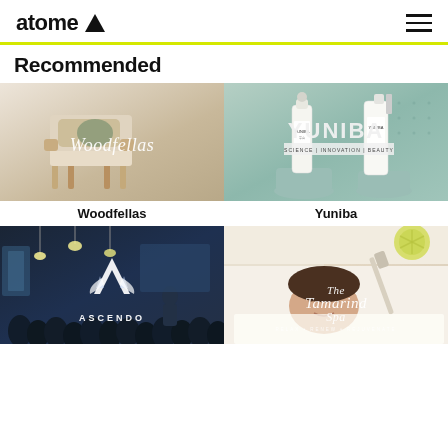atome
Recommended
[Figure (photo): Wooden armchair with cushions - Woodfellas furniture store product image with cursive overlay text 'Woodfellas']
[Figure (photo): YUNIBA skincare serum bottles on mint green background with brand name overlay]
Woodfellas
Yuniba
[Figure (photo): Conference/seminar room with audience and pendant lights - Ascendo brand with logo overlay]
[Figure (photo): Woman relaxing at spa with The Tamarind Spa logo overlay]